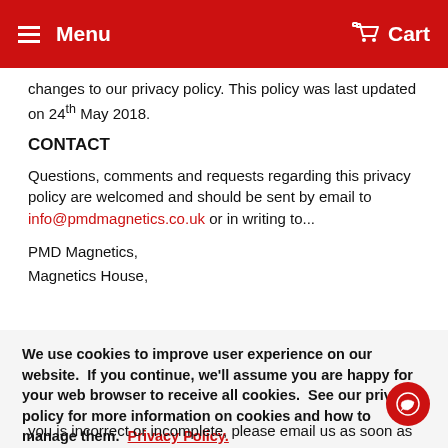Menu   Cart
changes to our privacy policy. This policy was last updated on 24th May 2018.
CONTACT
Questions, comments and requests regarding this privacy policy are welcomed and should be sent by email to info@pmdmagnetics.co.uk or in writing to...
PMD Magnetics,
Magnetics House,
We use cookies to improve user experience on our website.  If you continue, we'll assume you are happy for your web browser to receive all cookies.  See our privacy policy for more information on cookies and how to manage them.  Privacy Policy.
you is incorrect or incomplete, please email us as soon as